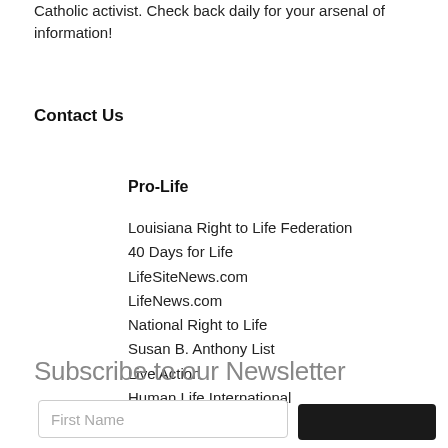Catholic activist. Check back daily for your arsenal of information!
Contact Us
Pro-Life
Louisiana Right to Life Federation
40 Days for Life
LifeSiteNews.com
LifeNews.com
National Right to Life
Susan B. Anthony List
Live Action
Human Life International
Subscribe to our Newsletter